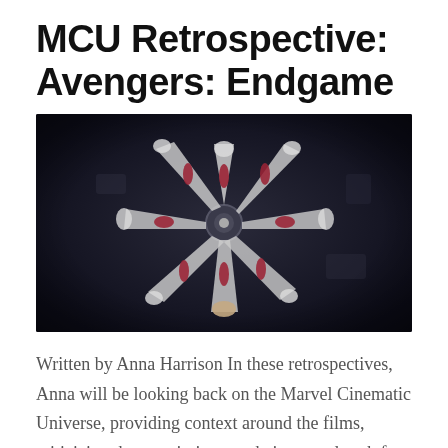MCU Retrospective: Avengers: Endgame
[Figure (photo): Overhead circular shot of Avengers characters in white and dark suits with red gloves, hands reaching inward toward a circular center piece, viewed from above in a dark industrial setting.]
Written by Anna Harrison In these retrospectives, Anna will be looking back on the Marvel Cinematic Universe, providing context around the films, criticizing them, pointing out their groundwork for the future, and telling